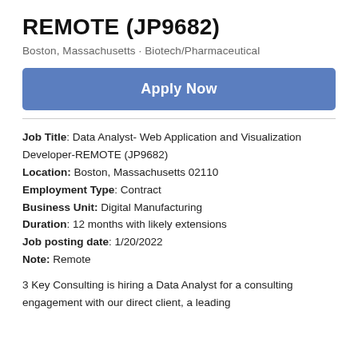REMOTE (JP9682)
Boston, Massachusetts · Biotech/Pharmaceutical
Apply Now
Job Title: Data Analyst- Web Application and Visualization Developer-REMOTE (JP9682)
Location: Boston, Massachusetts 02110
Employment Type: Contract
Business Unit: Digital Manufacturing
Duration: 12 months with likely extensions
Job posting date: 1/20/2022
Note: Remote
3 Key Consulting is hiring a Data Analyst for a consulting engagement with our direct client, a leading